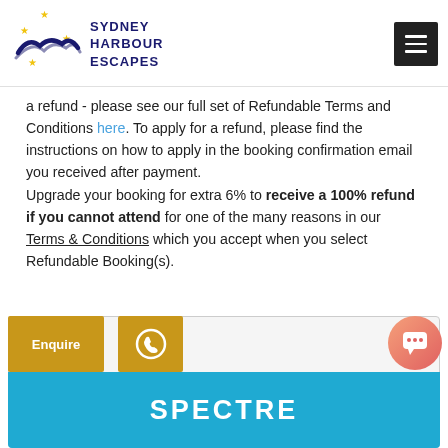Sydney Harbour Escapes
a refund - please see our full set of Refundable Terms and Conditions here. To apply for a refund, please find the instructions on how to apply in the booking confirmation email you received after payment. Upgrade your booking for extra 6% to receive a 100% refund if you cannot attend for one of the many reasons in our Terms & Conditions which you accept when you select Refundable Booking(s).
[Figure (screenshot): Bottom CTA section with Enquire button, phone icon button, SPECTRE title text on blue background, and chat bubble button]